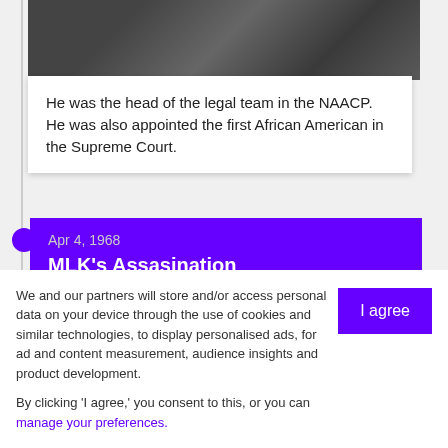[Figure (photo): Grayscale textured photo (partial, cropped at top), appears to be dark stone or concrete surface]
He was the head of the legal team in the NAACP. He was also appointed the first African American in the Supreme Court.
Apr 4, 1968
MLK's Assasination
We and our partners will store and/or access personal data on your device through the use of cookies and similar technologies, to display personalised ads, for ad and content measurement, audience insights and product development.

By clicking 'I agree,' you consent to this, or you can manage your preferences.